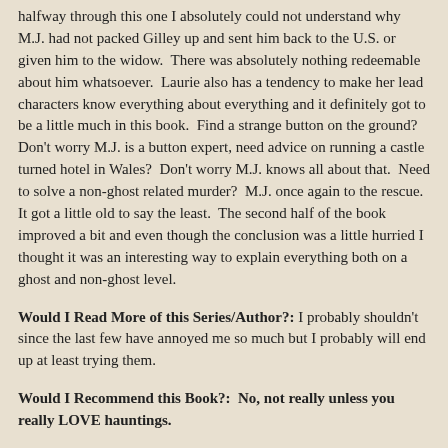halfway through this one I absolutely could not understand why M.J. had not packed Gilley up and sent him back to the U.S. or given him to the widow.  There was absolutely nothing redeemable about him whatsoever.  Laurie also has a tendency to make her lead characters know everything about everything and it definitely got to be a little much in this book.  Find a strange button on the ground?  Don't worry M.J. is a button expert, need advice on running a castle turned hotel in Wales?  Don't worry M.J. knows all about that.  Need to solve a non-ghost related murder?  M.J. once again to the rescue.  It got a little old to say the least.  The second half of the book improved a bit and even though the conclusion was a little hurried I thought it was an interesting way to explain everything both on a ghost and non-ghost level.
Would I Read More of this Series/Author?: I probably shouldn't since the last few have annoyed me so much but I probably will end up at least trying them.
Would I Recommend this Book?:  No, not really unless you really LOVE hauntings.